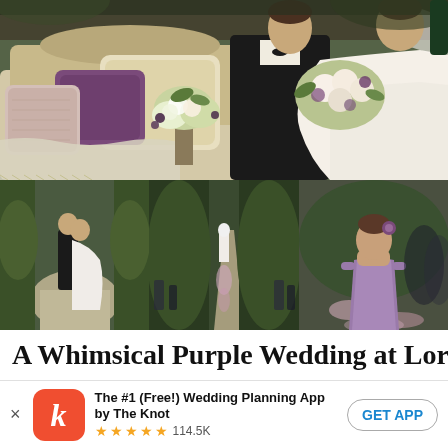[Figure (photo): Wedding photo collage: top large image shows bride and groom in romantic pose near decorated loveseat with purple and cream pillows and white floral arrangement; bottom row has three photos: bride and groom walking in garden, outdoor garden ceremony aisle with guests, and flower girl in purple dress]
A Whimsical Purple Wedding at Lord
[Figure (logo): The Knot app icon — orange/red rounded square with white italic 'k' letter]
The #1 (Free!) Wedding Planning App by The Knot
★★★★★ 114.5K
GET APP